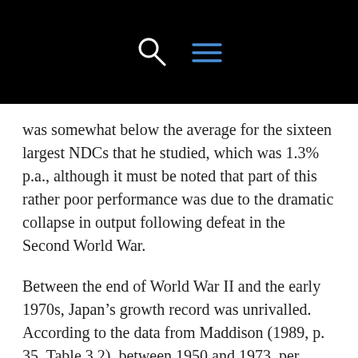was somewhat below the average for the sixteen largest NDCs that he studied, which was 1.3% p.a., although it must be noted that part of this rather poor performance was due to the dramatic collapse in output following defeat in the Second World War.
Between the end of World War II and the early 1970s, Japan’s growth record was unrivalled. According to the data from Maddison (1989, p. 35, Table 3.2), between 1950 and 1973, per capita GDP in Japan grew at a staggering 8%, more than double the 3.8% average achieved by the sixteen NDCs mentioned above (the average